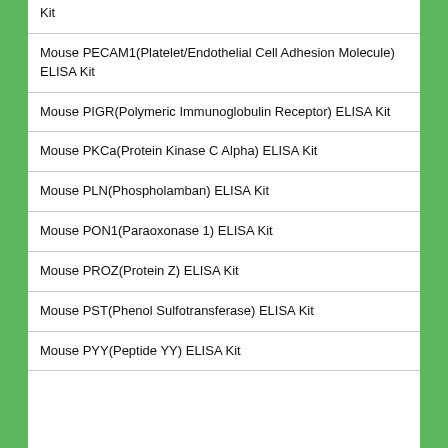Kit
Mouse PECAM1(Platelet/Endothelial Cell Adhesion Molecule) ELISA Kit
Mouse PIGR(Polymeric Immunoglobulin Receptor) ELISA Kit
Mouse PKCa(Protein Kinase C Alpha) ELISA Kit
Mouse PLN(Phospholamban) ELISA Kit
Mouse PON1(Paraoxonase 1) ELISA Kit
Mouse PROZ(Protein Z) ELISA Kit
Mouse PST(Phenol Sulfotransferase) ELISA Kit
Mouse PYY(Peptide YY) ELISA Kit